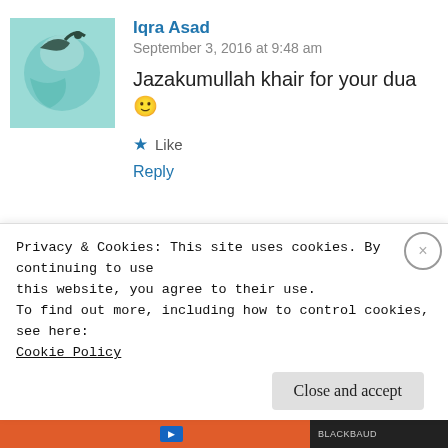[Figure (photo): Avatar image of Iqra Asad, appears to be a colorful/artistic image with teal and green tones]
Iqra Asad
September 3, 2016 at 9:48 am
Jazakumullah khair for your dua 🙂
★ Like
Reply
[Figure (photo): Avatar image of Sainab, woman wearing pink hijab, outdoor background]
Sainab
September 3, 2016 at 6:07 pm
Privacy & Cookies: This site uses cookies. By continuing to use this website, you agree to their use.
To find out more, including how to control cookies, see here:
Cookie Policy
Close and accept